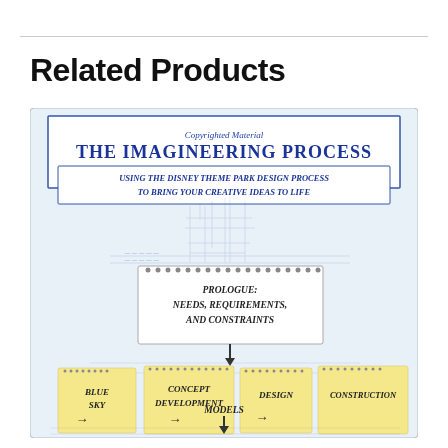Related Products
[Figure (illustration): Book cover for 'The Imagineering Process: Using the Disney Theme Park Design Process to Bring Your Creative Ideas to Life', showing sticky notes with stages: Blue Sky, Concept Development, Design, Construction, Models, and Prologue: Needs, Requirements, and Constraints, with blueprint sketches in the background.]